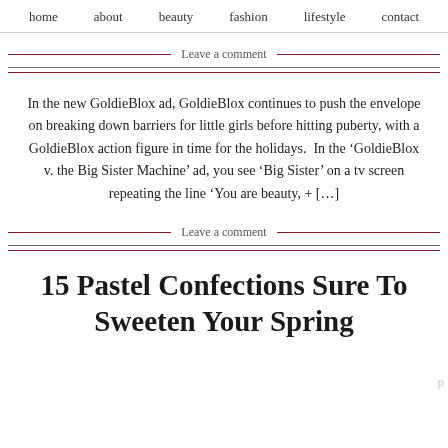home   about   beauty fashion lifestyle contact
Leave a comment
In the new GoldieBlox ad, GoldieBlox continues to push the envelope on breaking down barriers for little girls before hitting puberty, with a GoldieBlox action figure in time for the holidays.  In the 'GoldieBlox v. the Big Sister Machine' ad, you see 'Big Sister' on a tv screen repeating the line 'You are beauty, + […]
Leave a comment
15 Pastel Confections Sure To Sweeten Your Spring